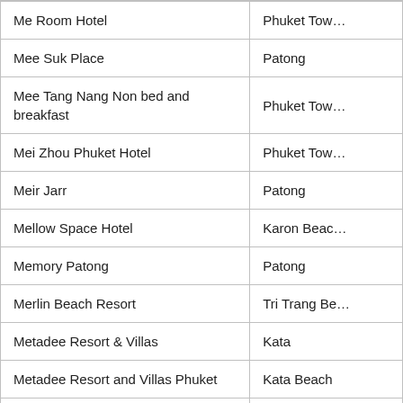| Hotel Name | Location |
| --- | --- |
| Me Room Hotel | Phuket Town |
| Mee Suk Place | Patong |
| Mee Tang Nang Non bed and breakfast | Phuket Town |
| Mei Zhou Phuket Hotel | Phuket Town |
| Meir Jarr | Patong |
| Mellow Space Hotel | Karon Beach |
| Memory Patong | Patong |
| Merlin Beach Resort | Tri Trang Beach |
| Metadee Resort & Villas | Kata |
| Metadee Resort and Villas Phuket | Kata Beach |
| Micky Monkey Beach Hotel | Maikhao |
| Millennium Hotel and Resort Patong Phuket | Patong Beach |
| Millennium Resort Patong Phuket | Patong Beach |
| Mingshou Boutique House | Phuket Town |